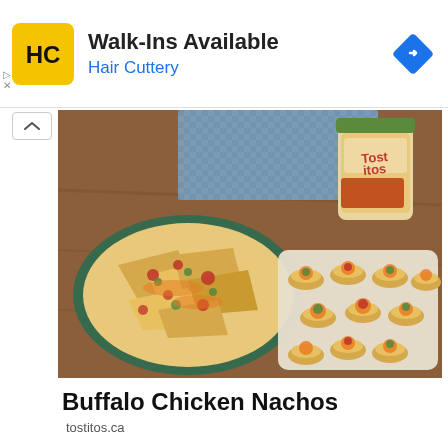[Figure (screenshot): Hair Cuttery advertisement banner: yellow square logo with HC letters, text 'Walk-Ins Available' in bold black, 'Hair Cuttery' in blue, blue diamond navigation icon on right]
[Figure (photo): Food photo showing Buffalo Chicken Nachos: a plate of nachos with toppings on the left, bite-sized nacho cups on a white rectangular tray on the right, a jar of Tostitos salsa in the background, blue checkered cloth napkin]
Buffalo Chicken Nachos
tostitos.ca